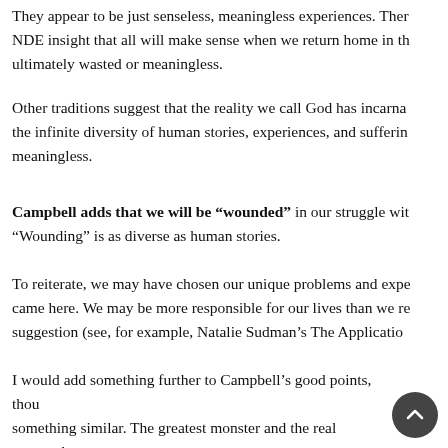They appear to be just senseless, meaningless experiences. Ther NDE insight that all will make sense when we return home in th ultimately wasted or meaningless.
Other traditions suggest that the reality we call God has incarna the infinite diversity of human stories, experiences, and sufferin meaningless.
Campbell adds that we will be “wounded” in our struggle wit “Wounding” is as diverse as human stories.
To reiterate, we may have chosen our unique problems and expe came here. We may be more responsible for our lives than we re suggestion (see, for example, Natalie Sudman’s The Applicatio
I would add something further to Campbell’s good points, thou something similar. The greatest monster and the real enemy that most serious problem that we must all wrestle with and is us (“the animal passions”). The most important of all “righteous